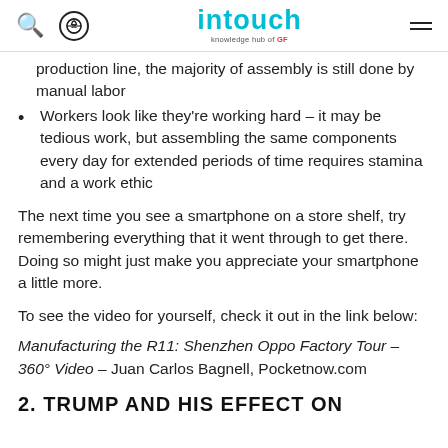intouch — knowledge hub of GF
production line, the majority of assembly is still done by manual labor
Workers look like they're working hard – it may be tedious work, but assembling the same components every day for extended periods of time requires stamina and a work ethic
The next time you see a smartphone on a store shelf, try remembering everything that it went through to get there. Doing so might just make you appreciate your smartphone a little more.
To see the video for yourself, check it out in the link below:
Manufacturing the R11: Shenzhen Oppo Factory Tour – 360° Video – Juan Carlos Bagnell, Pocketnow.com
2. TRUMP AND HIS EFFECT ON